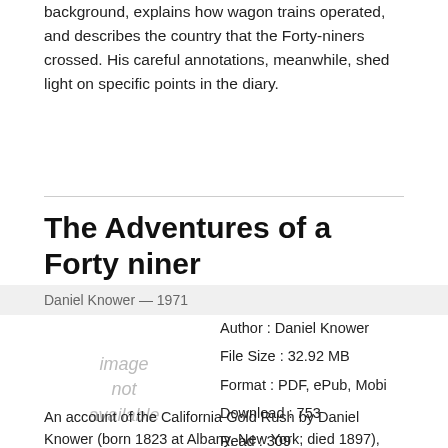background, explains how wagon trains operated, and describes the country that the Forty-niners crossed. His careful annotations, meanwhile, shed light on specific points in the diary.
The Adventures of a Forty niner
Daniel Knower — 1971
[Figure (other): Image not available placeholder]
Author : Daniel Knower
File Size : 32.92 MB
Format : PDF, ePub, Mobi
Download : 753
Read : 309
Download »
An account of the California Gold Rush by Daniel Knower (born 1823 at Albany, New York; died 1897), member of a prominent and respected